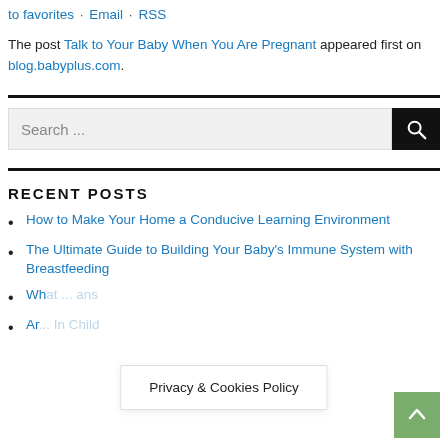to favorites · Email · RSS
The post Talk to Your Baby When You Are Pregnant appeared first on blog.babyplus.com.
[Figure (other): Search bar with text 'Search ...' and a black search button with magnifying glass icon]
RECENT POSTS
How to Make Your Home a Conducive Learning Environment
The Ultimate Guide to Building Your Baby's Immune System with Breastfeeding
Wh... ans
Ar... In Child
Privacy & Cookies Policy